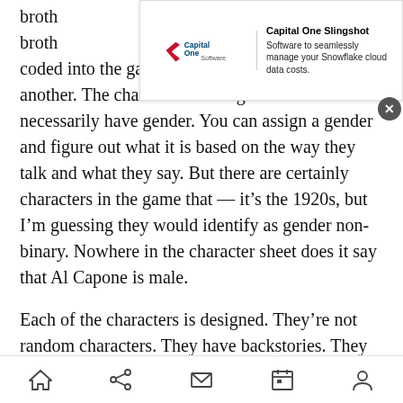[Figure (screenshot): Capital One Slingshot advertisement banner with logo and text: 'Software to seamlessly manage your Snowflake cloud data costs.']
broth… broth… coded into the game that implies one envelope or another. The characters in the game don't necessarily have gender. You can assign a gender and figure out what it is based on the way they talk and what they say. But there are certainly characters in the game that — it's the 1920s, but I'm guessing they would identify as gender non-binary. Nowhere in the character sheet does it say that Al Capone is male.

Each of the characters is designed. They're not random characters. They have backstories. They have friends. They have people they can't stand. They come into the game with flaws. They could be
[Figure (other): Mobile bottom navigation bar with home, share, mail, calendar, and profile icons]